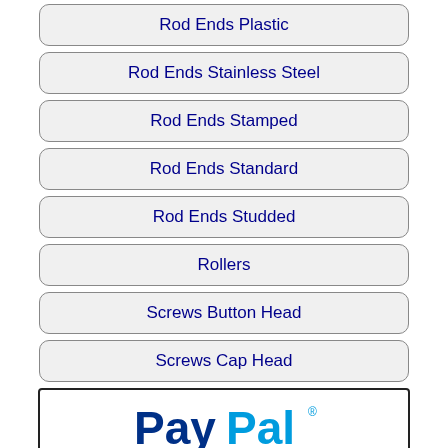Rod Ends Plastic
Rod Ends Stainless Steel
Rod Ends Stamped
Rod Ends Standard
Rod Ends Studded
Rollers
Screws Button Head
Screws Cap Head
[Figure (logo): PayPal logo with text 'Paypal Secure Checkout']
Screws Captive
Screws Cheese Head